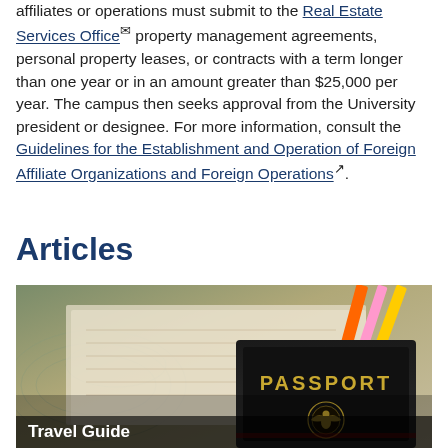affiliates or operations must submit to the Real Estate Services Office property management agreements, personal property leases, or contracts with a term longer than one year or in an amount greater than $25,000 per year. The campus then seeks approval from the University president or designee. For more information, consult the Guidelines for the Establishment and Operation of Foreign Affiliate Organizations and Foreign Operations.
Articles
[Figure (photo): Photo of a passport book resting on top of maps and documents, with pencils in the background. The passport shows a US eagle emblem.]
Travel Guide